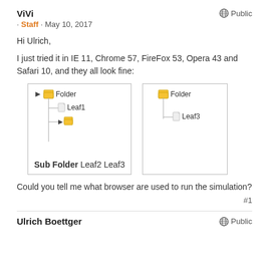ViVi
• Staff • May 10, 2017
Hi Ulrich,
I just tried it in IE 11, Chrome 57, FireFox 53, Opera 43 and Safari 10, and they all look fine:
[Figure (screenshot): Two file-tree diagrams side by side. Left tree shows: Folder with Leaf1, Sub Folder (containing Leaf2), and Leaf3. Right tree shows: Folder with Leaf3.]
Could you tell me what browser are used to run the simulation?
#1
Ulrich Boettger
Public